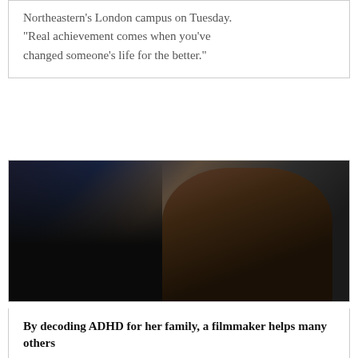Northeastern's London campus on Tuesday. "Real achievement comes when you've changed someone's life for the better."
[Figure (photo): Two women in conversation at an event, with rainbow light streaks visible. One woman faces away (left silhouette), the other (right) faces forward and is smiling, wearing a dark top and necklace. Background shows warm brown tones.]
By decoding ADHD for her family, a filmmaker helps many others
Nov 8, 2021 | Articles, Events, Featured Article